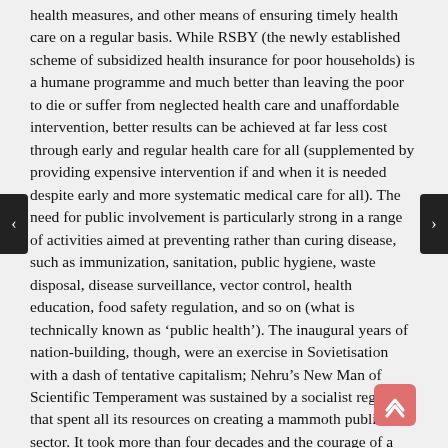health measures, and other means of ensuring timely health care on a regular basis. While RSBY (the newly established scheme of subsidized health insurance for poor households) is a humane programme and much better than leaving the poor to die or suffer from neglected health care and unaffordable intervention, better results can be achieved at far less cost through early and regular health care for all (supplemented by providing expensive intervention if and when it is needed despite early and more systematic medical care for all). The need for public involvement is particularly strong in a range of activities aimed at preventing rather than curing disease, such as immunization, sanitation, public hygiene, waste disposal, disease surveillance, vector control, health education, food safety regulation, and so on (what is technically known as 'public health'). The inaugural years of nation-building, though, were an exercise in Sovietisation with a dash of tentative capitalism; Nehru's New Man of Scientific Temperament was sustained by a socialist regime that spent all its resources on creating a mammoth public sector. It took more than four decades and the courage of a few men in power for India to break out of the comfort zone of socialism and stop looking at the world through the prism of Cold War. The late awakening and an accelerated growth rate, an aspirational middle class